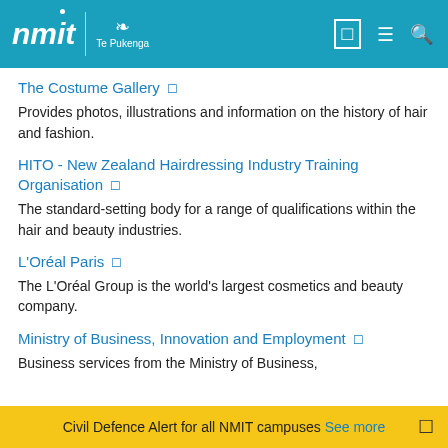NMIT | Te Pukenga
The Costume Gallery — Provides photos, illustrations and information on the history of hair and fashion.
HITO - New Zealand Hairdressing Industry Training Organisation — The standard-setting body for a range of qualifications within the hair and beauty industries.
L'Oréal Paris — The L'Oréal Group is the world's largest cosmetics and beauty company.
Ministry of Business, Innovation and Employment — Business services from the Ministry of Business,
Civil Defence Alert for all NMIT campuses See more